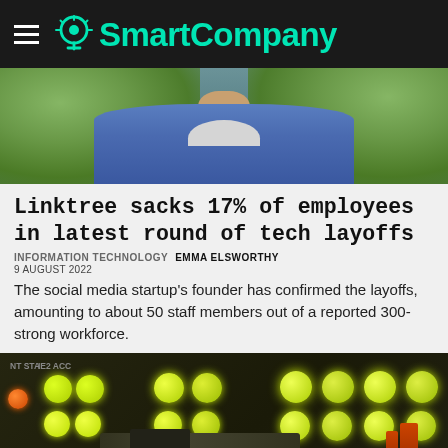SmartCompany
[Figure (photo): Photo of a man in a blue shirt against a foliage background, cropped to show neck and shoulders]
Linktree sacks 17% of employees in latest round of tech layoffs
INFORMATION TECHNOLOGY  EMMA ELSWORTHY
9 AUGUST 2022
The social media startup's founder has confirmed the layoffs, amounting to about 50 staff members out of a reported 300-strong workforce.
[Figure (photo): Close-up photo of a server or electronic equipment panel with yellow/green indicator lights and cable connectors]